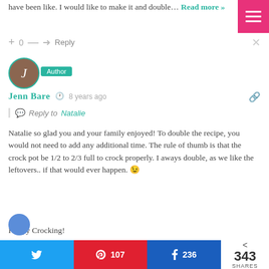have been like. I would like to make it and double… Read more »
+ 0 — → Reply
[Figure (other): Pink hamburger menu button]
[Figure (other): Author avatar circle with letter J]
Author
Jenn Bare  8 years ago
Reply to Natalie
Natalie so glad you and your family enjoyed! To double the recipe, you would not need to add any additional time. The rule of thumb is that the crock pot be 1/2 to 2/3 full to crock properly. I aways double, as we like the leftovers.. if that would ever happen. 😉
Happy Crocking!
+ 0 — → Reply
Tweet  |  107  |  236  |  < 343 SHARES